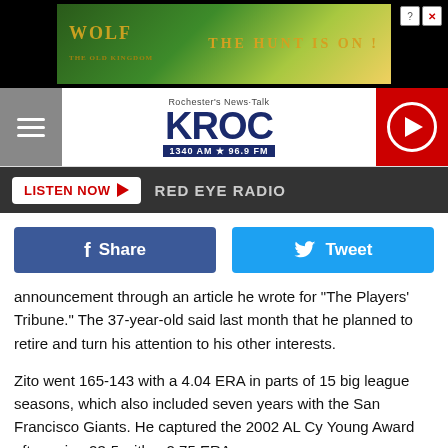[Figure (screenshot): Advertisement banner for Wolf game: 'The Hunt is On!' with wolves in a field on dark background]
[Figure (logo): KROC Rochester's News-Talk radio station logo, 1340 AM 96.9 FM, with hamburger menu and red play button]
[Figure (screenshot): Dark bar with Listen Now red button and RED EYE RADIO text]
[Figure (screenshot): Social share buttons: Facebook Share and Twitter Tweet]
announcement through an article he wrote for "The Players' Tribune." The 37-year-old said last month that he planned to retire and turn his attention to his other interests.
Zito went 165-143 with a 4.04 ERA in parts of 15 big league seasons, which also included seven years with the San Francisco Giants. He captured the 2002 AL Cy Young Award after going 23-5 with a 2.75 ERA.
NFL-EAGLES/GIANTS